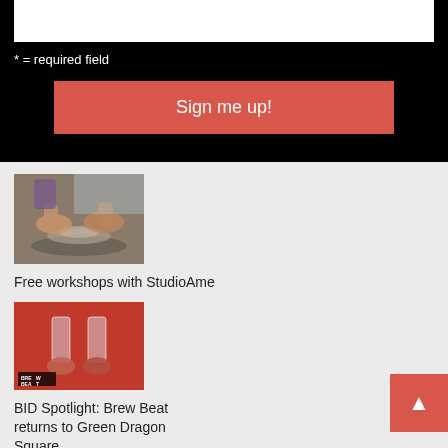* = required field
Sign me up!
[Figure (photo): Hands shaping clay on a pottery wheel]
Free workshops with StudioNAme
[Figure (photo): Brew Beat event photo with glasses clinking on red background with BREW BEAT logo overlay]
BID Spotlight: Brew Beat returns to Green Dragon Square
[Figure (photo): Group photo partially visible at bottom]